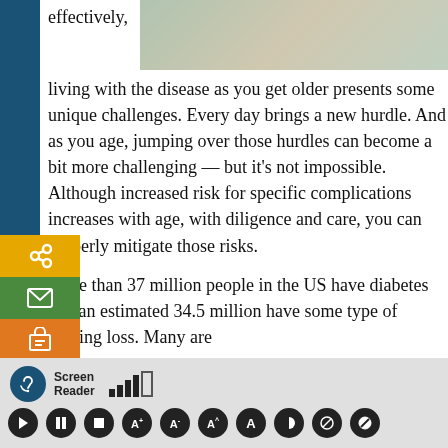[Figure (photo): Partial view of a person's torso/hands, outdoors]
effectively, living with the disease as you get older presents some unique challenges. Every day brings a new hurdle. And as you age, jumping over those hurdles can become a bit more challenging — but it's not impossible. Although increased risk for specific complications increases with age, with diligence and care, you can properly mitigate those risks.
More than 37 million people in the US have diabetes and an estimated 34.5 million have some type of hearing loss. Many are
[Figure (screenshot): Screen Reader toolbar with audio controls at the bottom of the page]